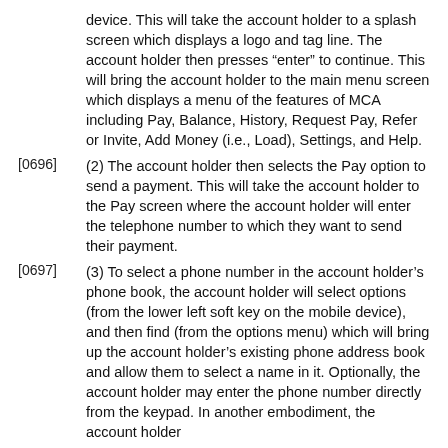device. This will take the account holder to a splash screen which displays a logo and tag line. The account holder then presses “enter” to continue. This will bring the account holder to the main menu screen which displays a menu of the features of MCA including Pay, Balance, History, Request Pay, Refer or Invite, Add Money (i.e., Load), Settings, and Help.
[0696] (2) The account holder then selects the Pay option to send a payment. This will take the account holder to the Pay screen where the account holder will enter the telephone number to which they want to send their payment.
[0697] (3) To select a phone number in the account holder’s phone book, the account holder will select options (from the lower left soft key on the mobile device), and then find (from the options menu) which will bring up the account holder’s existing phone address book and allow them to select a name in it. Optionally, the account holder may enter the phone number directly from the keypad. In another embodiment, the account holder may also select the benefitfrom the benefitst...